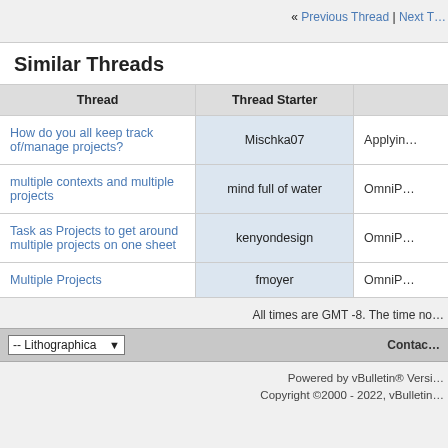« Previous Thread | Next T…
Similar Threads
| Thread | Thread Starter |  |
| --- | --- | --- |
| How do you all keep track of/manage projects? | Mischka07 | Applyin… |
| multiple contexts and multiple projects | mind full of water | OmniP… |
| Task as Projects to get around multiple projects on one sheet | kenyondesign | OmniP… |
| Multiple Projects | fmoyer | OmniP… |
All times are GMT -8. The time no…
-- Lithographica   Contac…
Powered by vBulletin® Versi… Copyright ©2000 - 2022, vBulletin…